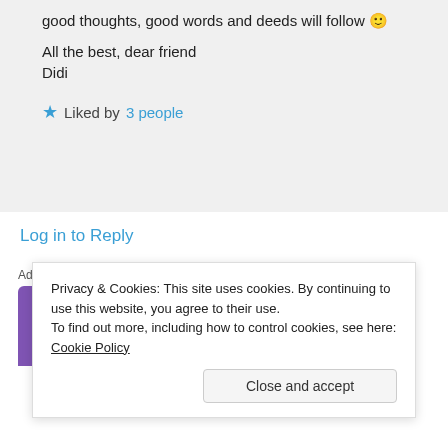good thoughts, good words and deeds will follow 🙂

All the best, dear friend
Didi
★ Liked by 3 people
Log in to Reply
Advertisements
[Figure (logo): WooCommerce purple banner logo]
Privacy & Cookies: This site uses cookies. By continuing to use this website, you agree to their use.
To find out more, including how to control cookies, see here: Cookie Policy
Close and accept